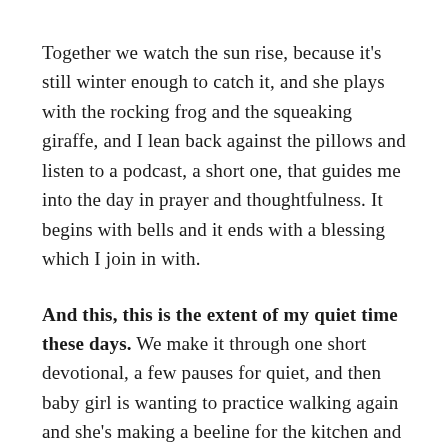Together we watch the sun rise, because it's still winter enough to catch it, and she plays with the rocking frog and the squeaking giraffe, and I lean back against the pillows and listen to a podcast, a short one, that guides me into the day in prayer and thoughtfulness. It begins with bells and it ends with a blessing which I join in with.
And this, this is the extent of my quiet time these days. We make it through one short devotional, a few pauses for quiet, and then baby girl is wanting to practice walking again and she's making a beeline for the kitchen and shouting loudly for toast or porridge or cheese scones.